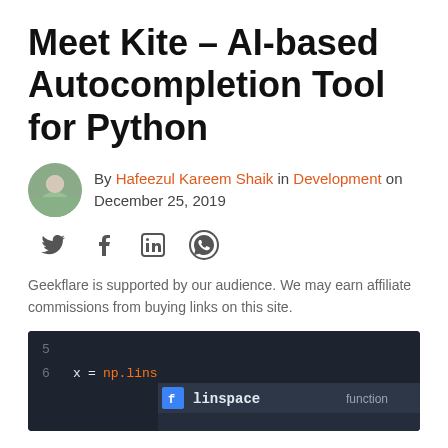Meet Kite – AI-based Autocompletion Tool for Python
By Hafeezul Kareem Shaik in Development on December 25, 2019
[Figure (infographic): Social share icons: Twitter, Facebook, LinkedIn, WhatsApp]
Geekflare is supported by our audience. We may earn affiliate commissions from buying links on this site.
[Figure (screenshot): Code editor screenshot showing Python code with np.lins and autocomplete dropdown showing linspace function]